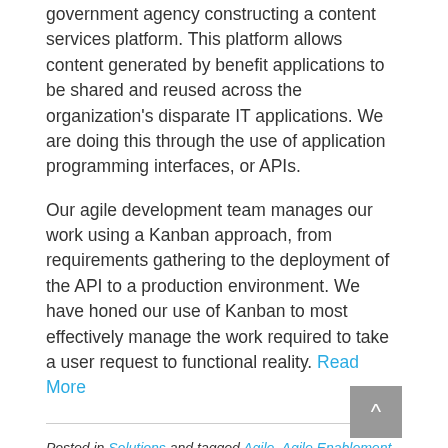government agency constructing a content services platform. This platform allows content generated by benefit applications to be shared and reused across the organization's disparate IT applications. We are doing this through the use of application programming interfaces, or APIs.
Our agile development team manages our work using a Kanban approach, from requirements gathering to the deployment of the API to a production environment. We have honed our use of Kanban to most effectively manage the work required to take a user request to functional reality. Read More
Posted in Solutions and tagged Agile, Agile Enablement, API First Development, Content Services, Digital Transformation, ECM, Information